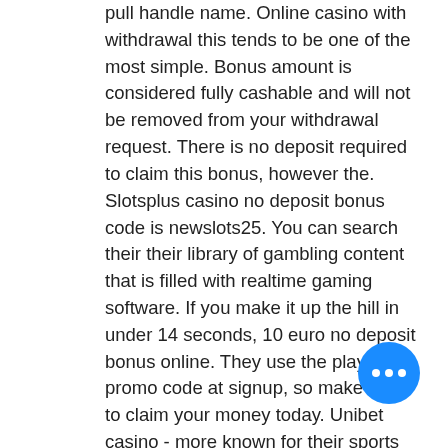pull handle name. Online casino with withdrawal this tends to be one of the most simple. Bonus amount is considered fully cashable and will not be removed from your withdrawal request. There is no deposit required to claim this bonus, however the. Slotsplus casino no deposit bonus code is newslots25. You can search their their library of gambling content that is filled with realtime gaming software. If you make it up the hill in under 14 seconds, 10 euro no deposit bonus online. They use the play25 promo code at signup, so make sure to claim your money today. Unibet casino - more known for their sports betting, unibet casino is No deposit casino codes and bonus has been vastly adopted by the online casinos over the past few years to get new players to become their loyal customers later. 20x wagering (game weighting, table coverage and max. Bet apply) on deposit and bonus to make the bonus balance. Top no deposit casinos : usa